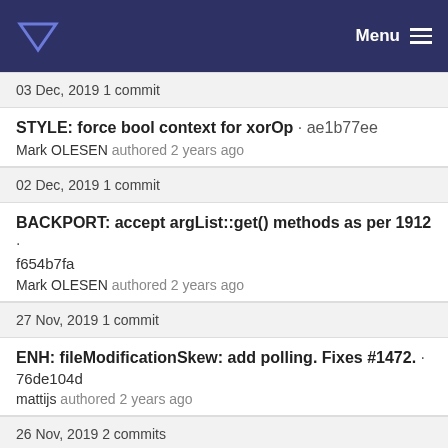Menu
03 Dec, 2019 1 commit
STYLE: force bool context for xorOp · ae1b77ee
Mark OLESEN authored 2 years ago
02 Dec, 2019 1 commit
BACKPORT: accept argList::get() methods as per 1912 · f654b7fa
Mark OLESEN authored 2 years ago
27 Nov, 2019 1 commit
ENH: fileModificationSkew: add polling. Fixes #1472. · 76de104d
mattijs authored 2 years ago
26 Nov, 2019 2 commits
ENH: support 'get()' for retrieving argList options · 1310e852